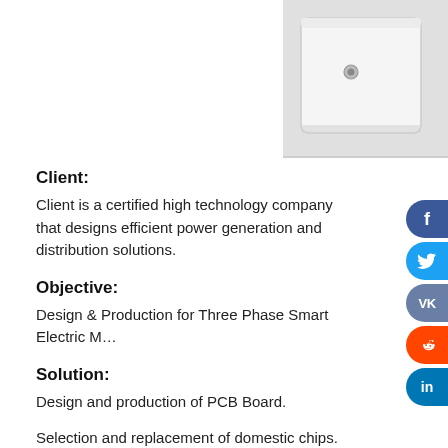[Figure (photo): White electronic device/meter box with a small circular connector or lock visible on its front face, photographed against a white background.]
Client:
Client is a certified high technology company that designs efficient power generation and distribution solutions.
Objective:
Design & Production for Three Phase Smart Electric M…
Solution:
Design and production of PCB Board.
Selection and replacement of domestic chips.
Molding & Plastic Injection…